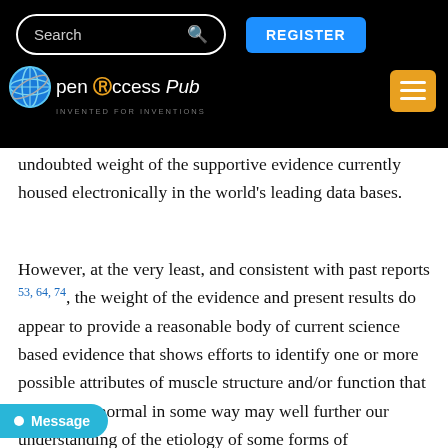Open Access Pub — INVENTED FOR INVENTIONS — Search | REGISTER
undoubted weight of the supportive evidence currently housed electronically in the world's leading data bases.
However, at the very least, and consistent with past reports 53, 64, 74, the weight of the evidence and present results do appear to provide a reasonable body of current science based evidence that shows efforts to identify one or more possible attributes of muscle structure and/or function that may be subnormal in some way may well further our understanding of the etiology of some forms of osteoarthritis, as well as its tendency to flare or wax and wane, but ultimately to progress rather than undergo any reversal. Additionally, while not conclusive, a second feature is that a variety of alterations in muscle quality, function